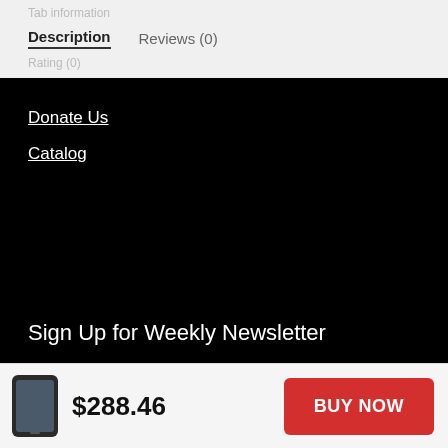Description   Reviews (0)
Donate Us
Catalog
Sign Up for Weekly Newsletter
wersadfasdfasdf
$288.46   BUY NOW